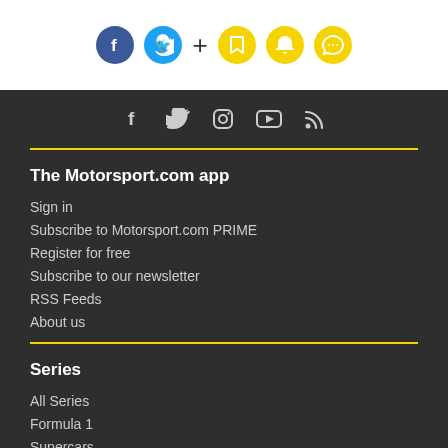[Figure (infographic): Top navigation bar with Facebook (blue circle), Twitter (cyan circle), plus sign, bookmark icon (yellow circle), bell icon (yellow circle), chat icon (yellow circle)]
[Figure (infographic): Dark footer social icons row: Facebook, Twitter, Instagram, YouTube, RSS feed]
The Motorsport.com app
Sign in
Subscribe to Motorsport.com PRIME
Register for free
Subscribe to our newsletter
RSS Feeds
About us
Series
All Series
Formula 1
Supercars